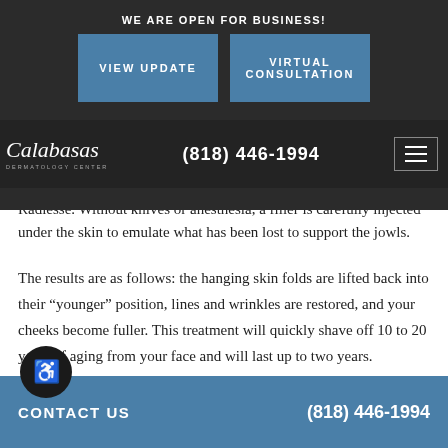WE ARE OPEN FOR BUSINESS!
VIEW UPDATE
VIRTUAL CONSULTATION
Radiesse. Without knives or anesthesia, a filler is carefully injected under the skin to emulate what has been lost to support the jowls.
The results are as follows: the hanging skin folds are lifted back into their “younger” position, lines and wrinkles are restored, and your cheeks become fuller. This treatment will quickly shave off 10 to 20 years of aging from your face and will last up to two years.
CONTACT US  (818) 446-1994